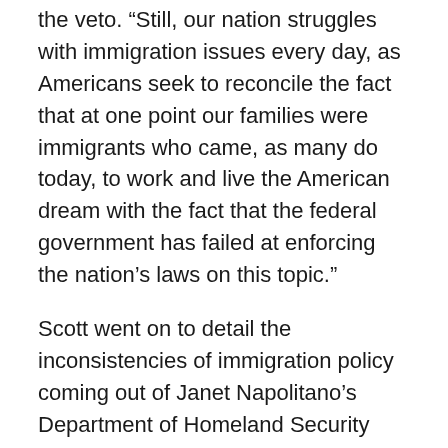the veto. “Still, our nation struggles with immigration issues every day, as Americans seek to reconcile the fact that at one point our families were immigrants who came, as many do today, to work and live the American dream with the fact that the federal government has failed at enforcing the nation’s laws on this topic.”
Scott went on to detail the inconsistencies of immigration policy coming out of Janet Napolitano’s Department of Homeland Security and President Barack Obama’s administration at large.
“Despite the federal government’s inability to enforce the nation’s current immigration laws or to find common ground on how to change them, the United States Department of Homeland Security (DHS) announced in a June 2012 memo the immediate establishment of a